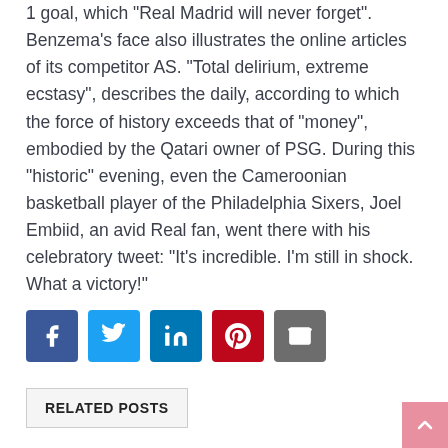1 goal, which "Real Madrid will never forget". Benzema's face also illustrates the online articles of its competitor AS. "Total delirium, extreme ecstasy", describes the daily, according to which the force of history exceeds that of "money", embodied by the Qatari owner of PSG. During this "historic" evening, even the Cameroonian basketball player of the Philadelphia Sixers, Joel Embiid, an avid Real fan, went there with his celebratory tweet: "It's incredible. I'm still in shock. What a victory!"
[Figure (infographic): Social sharing buttons: Facebook (blue), Twitter (light blue), LinkedIn (dark blue), Pinterest (red), Email (grey)]
RELATED POSTS